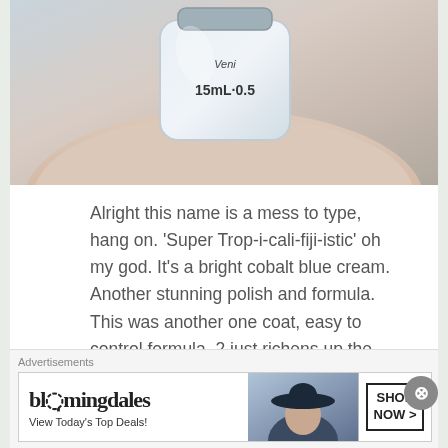[Figure (photo): Close-up photo of a nail polish bottle held in a hand, showing label with '15mL·0.5' text. Light blue/white polish bottle.]
Alright this name is a mess to type, hang on. 'Super Trop-i-cali-fiji-istic' oh my god. It's a bright cobalt blue cream. Another stunning polish and formula. This was another one coat, easy to control formula. 2 just richens up the color and makes it brighter. Love it. Pick this one immediately because you can never have two many bright blues.
[Figure (photo): Partial view of next image strip at bottom of content area]
Advertisements
[Figure (screenshot): Bloomingdale's advertisement banner: 'bloomingdales / View Today's Top Deals!' with woman in hat image and 'SHOP NOW >' call to action button]